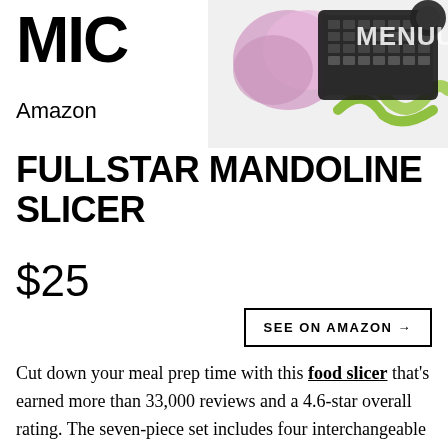MIC Amazon
[Figure (photo): Photo of food slicer/mandoline with colorful sliced vegetables and kitchen equipment, with MENU overlay text]
FULLSTAR MANDOLINE SLICER
$25
SEE ON AMAZON →
Cut down your meal prep time with this food slicer that's earned more than 33,000 reviews and a 4.6-star overall rating. The seven-piece set includes four interchangeable stainless steel blades that allows you to chop and slice vegetables with ease, plus a built-in